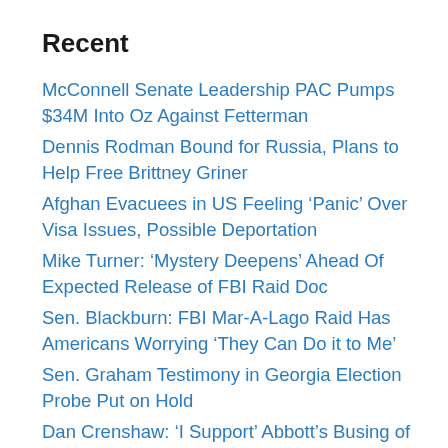Recent
McConnell Senate Leadership PAC Pumps $34M Into Oz Against Fetterman
Dennis Rodman Bound for Russia, Plans to Help Free Brittney Griner
Afghan Evacuees in US Feeling ‘Panic’ Over Visa Issues, Possible Deportation
Mike Turner: ‘Mystery Deepens’ Ahead Of Expected Release of FBI Raid Doc
Sen. Blackburn: FBI Mar-A-Lago Raid Has Americans Worrying ‘They Can Do it to Me’
Sen. Graham Testimony in Georgia Election Probe Put on Hold
Dan Crenshaw: ‘I Support’ Abbott’s Busing of